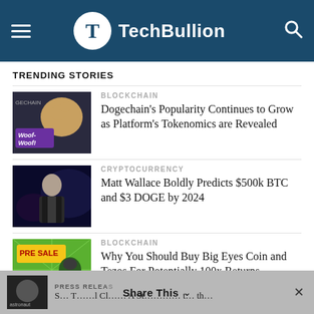TechBullion
TRENDING STORIES
BLOCKCHAIN
Dogechain's Popularity Continues to Grow as Platform's Tokenomics are Revealed
CRYPTOCURRENCY
Matt Wallace Boldly Predicts $500k BTC and $3 DOGE by 2024
BLOCKCHAIN
Why You Should Buy Big Eyes Coin and Tezos For Potentially 100x Returns
PRESS RELEASE
Share This ∨  ×